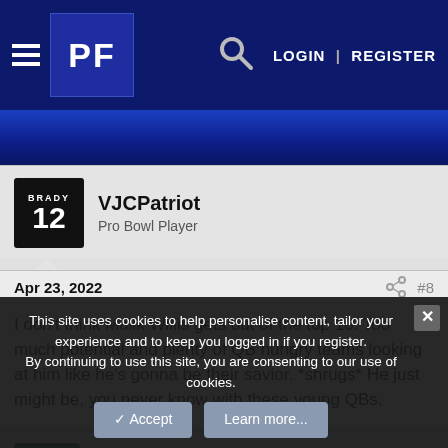PF LOGIN | REGISTER
[Figure (screenshot): Navigation bar with hamburger menu, PF logo, search icon, LOGIN and REGISTER links on dark blue background]
VJCPatriot
Pro Bowl Player
Apr 23, 2022 #8
I don't think Malik Willis gets out of the top 10. Too much potential and plenty of QB hungry teams looking at him like he's gonna be their savior. *shrugs* He just might be, you never know with these young QBs.
Ochmed Jones
This site uses cookies to help personalise content, tailor your experience and to keep you logged in if you register.
By continuing to use this site, you are consenting to our use of cookies.
Accept   Learn more...